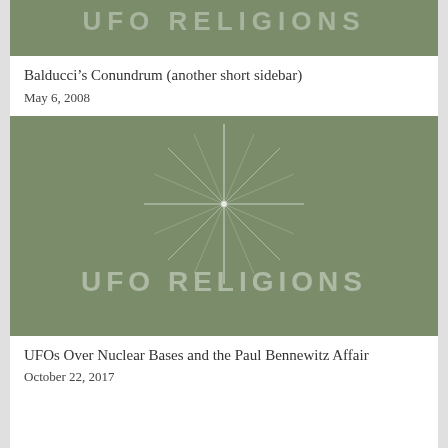[Figure (illustration): Green background image with 'UFO RELIGIONS' text and a starburst graphic, partially cropped at top]
Balducci’s Conundrum (another short sidebar)
May 6, 2008
[Figure (illustration): Green background image with starburst star graphic and 'UFO RELIGIONS' text in light gray]
UFOs Over Nuclear Bases and the Paul Bennewitz Affair
October 22, 2017